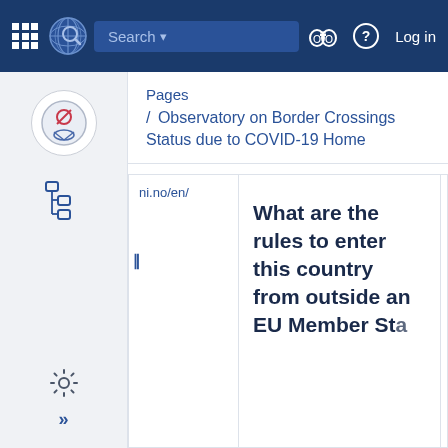[Figure (screenshot): Top navigation bar with grid icon, UN-style globe logo, search bar, binoculars icon, help icon, and Log in text on dark blue background]
[Figure (screenshot): Left sidebar with circular badge icon (red cross/prohibition symbol), tree/hierarchy icon, settings gear icon, and double-arrow icon]
Pages
/ Observatory on Border Crossings Status due to COVID-19 Home
ni.no/en/
What are the rules to enter this country from outside an EU Member State